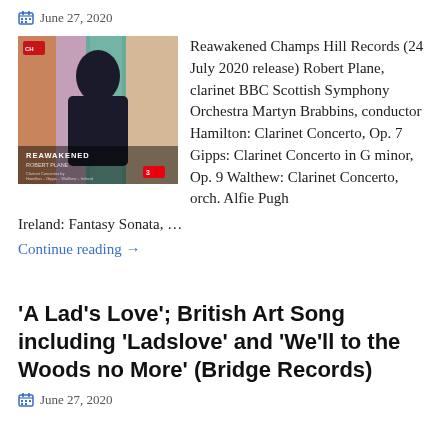June 27, 2020
[Figure (photo): Album cover for 'Reawakened' by Robert Plane, showing a man in a black shirt against a colorful blurred background with text 'Clarinet Concertos by Hamilton – Gipps – Walthew – Ireland, BBC Scottish Symphony Orchestra, Martyn Brabbins']
Reawakened Champs Hill Records (24 July 2020 release) Robert Plane, clarinet BBC Scottish Symphony Orchestra Martyn Brabbins, conductor Hamilton: Clarinet Concerto, Op. 7 Gipps: Clarinet Concerto in G minor, Op. 9 Walthew: Clarinet Concerto, orch. Alfie Pugh Ireland: Fantasy Sonata, …
Continue reading →
'A Lad's Love'; British Art Song including 'Ladslove' and 'We'll to the Woods no More' (Bridge Records)
June 27, 2020